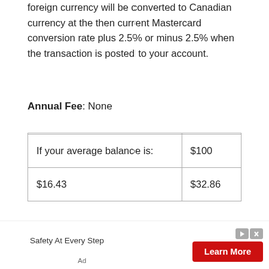foreign currency will be converted to Canadian currency at the then current Mastercard conversion rate plus 2.5% or minus 2.5% when the transaction is posted to your account.
Annual Fee: None
| If your average balance is: | $100 |
| $16.43 | $32.86 |
®/ Mark's is a registered trademark of Mark's Work Wearhouse Ltd, used under licence.
®/ Atmosphere & Sport Chek are registered trademarks of